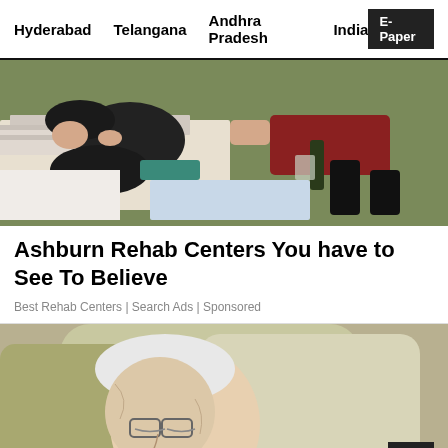Hyderabad   Telangana   Andhra Pradesh   India   E-Paper
[Figure (photo): People lying on grass with belongings scattered around them]
Ashburn Rehab Centers You have to See To Believe
Best Rehab Centers | Search Ads | Sponsored
[Figure (photo): Elderly man sleeping in a chair with glasses on]